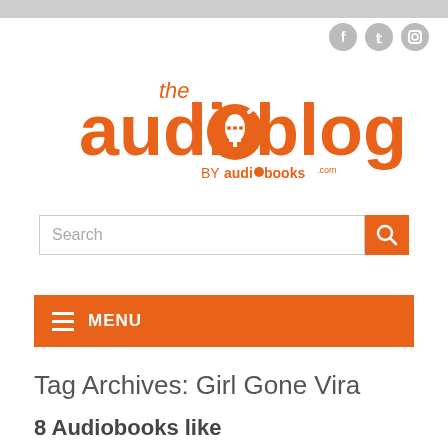[Figure (logo): The Audioblog by audiobooks.com logo in orange]
[Figure (other): Social media icons: Facebook, Twitter, Instagram in gray]
Search
MENU
Tag Archives: Girl Gone Vira
8 Audiobooks like